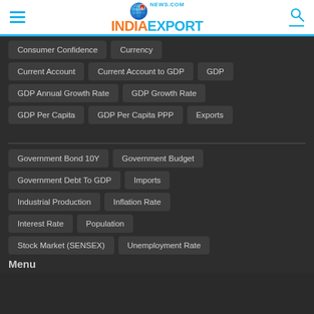INDIAEXPORT NEWS.COM
Consumer Confidence
Currency
Current Account
Current Account to GDP
GDP
GDP Annual Growth Rate
GDP Growth Rate
GDP Per Capita
GDP Per Capita PPP
Exports
Government Bond 10Y
Government Budget
Government Debt To GDP
Imports
Industrial Production
Inflation Rate
Interest Rate
Population
Stock Market (SENSEX)
Unemployment Rate
Menu